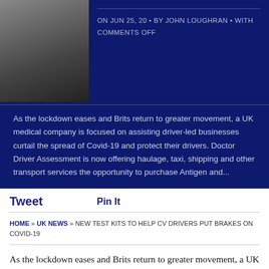[Figure (photo): Photo of a person, partially visible at top of dark blue banner]
ON JUN 25, 20 • BY JOHN LOUGHRAN • WITH COMMENTS OFF
As the lockdown eases and Brits return to greater movement, a UK medical company is focused on assisting driver-led businesses curtail the spread of Covid-19 and protect their drivers. Doctor Driver Assessment is now offering haulage, taxi, shipping and other transport services the opportunity to purchase Antigen and...
Tweet
Pin It
HOME » UK NEWS » NEW TEST KITS TO HELP CV DRIVERS PUT BRAKES ON COVID-19
As the lockdown eases and Brits return to greater movement, a UK medical company is focused on assisting driver-led businesses curtail the spread of Covid-19 and protect their drivers. Doctor Driver Assessment is now offering haulage,